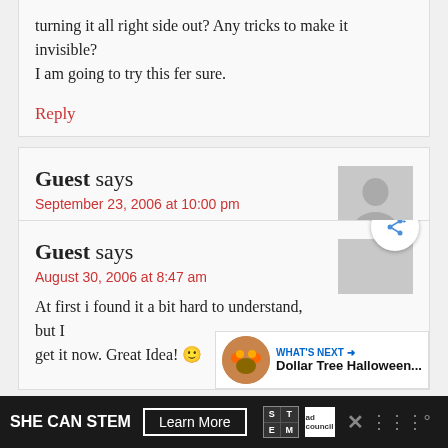turning it all right side out? Any tricks to make it invisible? I am going to try this fer sure.
Reply
Guest says
September 23, 2006 at 10:00 pm
cute i love it like a lot.although i dont understand.learner of sewing,yes indeed
Reply
Guest says
August 30, 2006 at 8:47 am
At first i found it a bit hard to understand, but I get it now. Great Idea! 🙂
SHE CAN STEM  Learn More